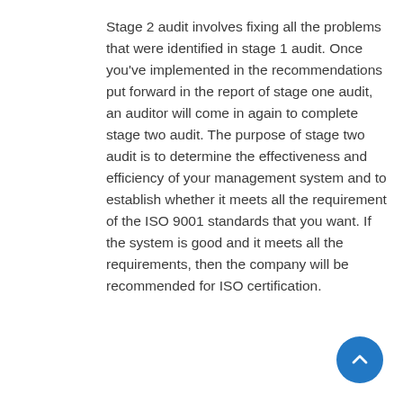Stage 2 audit involves fixing all the problems that were identified in stage 1 audit. Once you've implemented in the recommendations put forward in the report of stage one audit, an auditor will come in again to complete stage two audit. The purpose of stage two audit is to determine the effectiveness and efficiency of your management system and to establish whether it meets all the requirement of the ISO 9001 standards that you want. If the system is good and it meets all the requirements, then the company will be recommended for ISO certification.